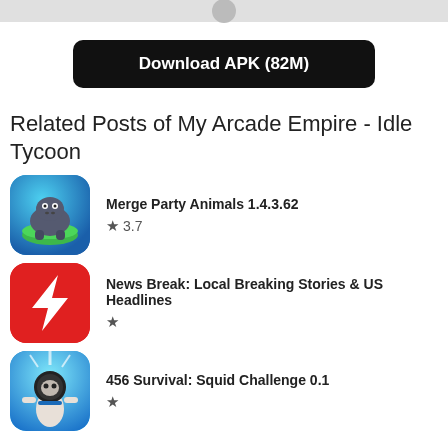Download APK (82M)
Related Posts of My Arcade Empire - Idle Tycoon
Merge Party Animals 1.4.3.62 ★ 3.7
News Break: Local Breaking Stories & US Headlines ★
456 Survival: Squid Challenge 0.1 ★